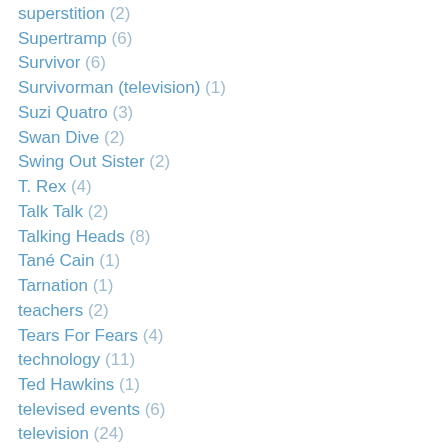superstition (2)
Supertramp (6)
Survivor (6)
Survivorman (television) (1)
Suzi Quatro (3)
Swan Dive (2)
Swing Out Sister (2)
T. Rex (4)
Talk Talk (2)
Talking Heads (8)
Tané Cain (1)
Tarnation (1)
teachers (2)
Tears For Fears (4)
technology (11)
Ted Hawkins (1)
televised events (6)
television (24)
television commercial (11)
Temptations (1)